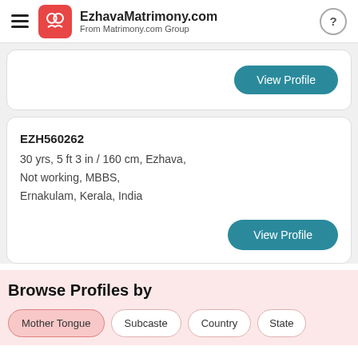EzhavaMatrimony.com — From Matrimony.com Group
View Profile
EZH560262
30 yrs, 5 ft 3 in / 160 cm, Ezhava,
Not working, MBBS,
Ernakulam, Kerala, India
View Profile
Browse Profiles by
Mother Tongue
Subcaste
Country
State